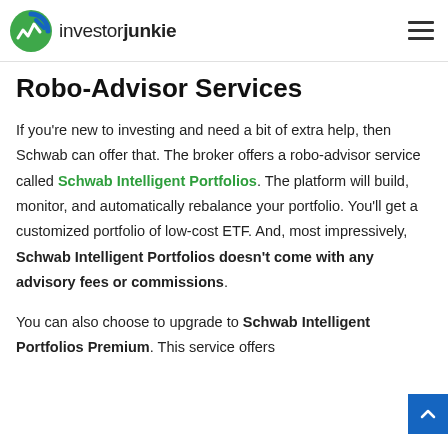investorjunkie
them when they reach adulthood.
Robo-Advisor Services
If you're new to investing and need a bit of extra help, then Schwab can offer that. The broker offers a robo-advisor service called Schwab Intelligent Portfolios. The platform will build, monitor, and automatically rebalance your portfolio. You'll get a customized portfolio of low-cost ETF. And, most impressively, Schwab Intelligent Portfolios doesn't come with any advisory fees or commissions.
You can also choose to upgrade to Schwab Intelligent Portfolios Premium. This service offers